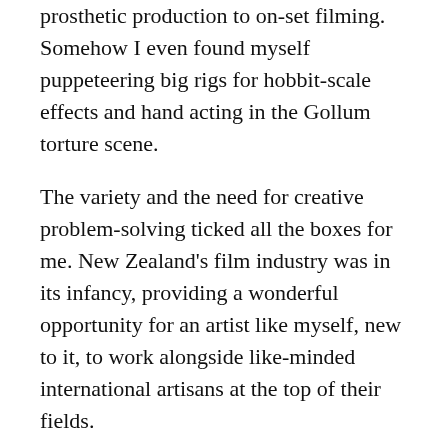prosthetic production to on-set filming. Somehow I even found myself puppeteering big rigs for hobbit-scale effects and hand acting in the Gollum torture scene.
The variety and the need for creative problem-solving ticked all the boxes for me. New Zealand's film industry was in its infancy, providing a wonderful opportunity for an artist like myself, new to it, to work alongside like-minded international artisans at the top of their fields.
How did you decide on the scenes to include in the NZ Post stamps?
I began by sketching what I felt were iconic scenes and notable characters from the first film. There were so many it was hard to stop. Once the NZ Post team had reviewed the